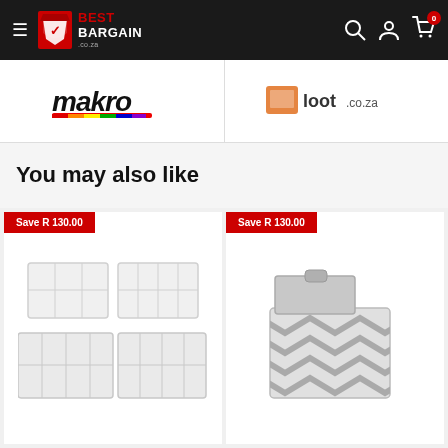Best Bargain .co.za — navigation bar with hamburger menu, logo, search, account, and cart icons
[Figure (logo): Makro logo — bold black italic text with rainbow stripe]
[Figure (logo): loot.co.za logo — orange box icon with text]
You may also like
[Figure (photo): Set of 4 white fabric drawer organizer boxes with dividers, Save R 130.00 badge]
[Figure (photo): Grey chevron patterned storage box with lid, Save R 130.00 badge]